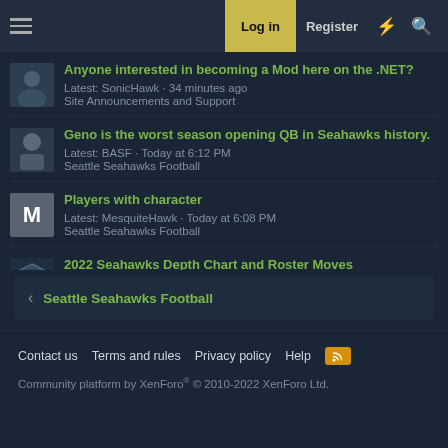Log in | Register
Anyone interested in becoming a Mod here on the .NET? Latest: SonicHawk · 34 minutes ago Site Announcements and Support
Geno is the worst season opening QB in Seahawks history. Latest: BASF · Today at 6:12 PM Seattle Seahawks Football
Players with character Latest: MesquiteHawk · Today at 6:08 PM Seattle Seahawks Football
2022 Seahawks Depth Chart and Roster Moves Latest: Hawkstorian · Today at 5:27 PM Seattle Seahawks Football
< Seattle Seahawks Football
Contact us   Terms and rules   Privacy policy   Help   [RSS icon]
Community platform by XenForo® © 2010-2022 XenForo Ltd.